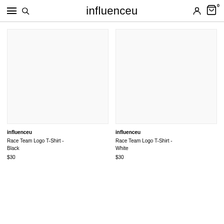influenceu
[Figure (photo): Product image placeholder for Race Team Logo T-Shirt - Black]
influenceu
Race Team Logo T-Shirt - Black
$30
[Figure (photo): Product image placeholder for Race Team Logo T-Shirt - White]
influenceu
Race Team Logo T-Shirt - White
$30